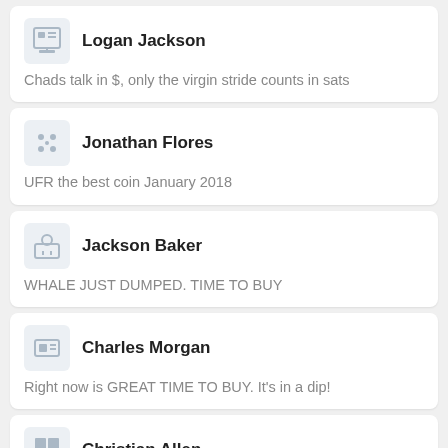Logan Jackson
Chads talk in $, only the virgin stride counts in sats
Jonathan Flores
UFR the best coin January 2018
Jackson Baker
WHALE JUST DUMPED. TIME TO BUY
Charles Morgan
Right now is GREAT TIME TO BUY. It's in a dip!
Christian Allen